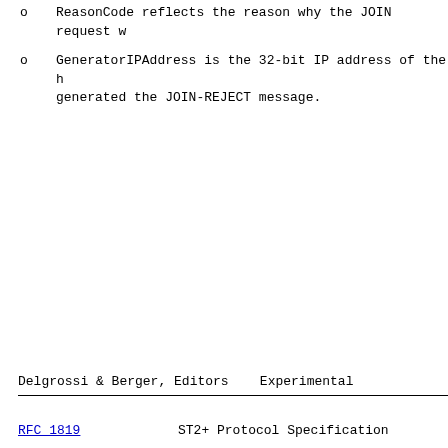o   ReasonCode reflects the reason why the JOIN request w...
o   GeneratorIPAddress is the 32-bit IP address of the h... generated the JOIN-REJECT message.
Delgrossi & Berger, Editors    Experimental
RFC 1819                ST2+ Protocol Specification